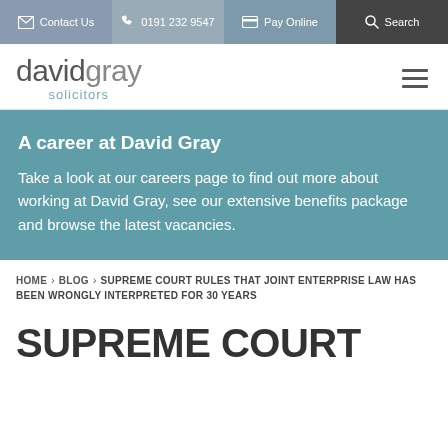Contact Us | 0191 232 9547 | Pay Online | Search
[Figure (logo): David Gray Solicitors logo - text logo with 'davidgray' in grey and 'solicitors' in teal below]
[Figure (infographic): A career at David Gray - teal banner with heading and descriptive text about careers page, benefits package and vacancies]
HOME › BLOG › SUPREME COURT RULES THAT JOINT ENTERPRISE LAW HAS BEEN WRONGLY INTERPRETED FOR 30 YEARS
SUPREME COURT